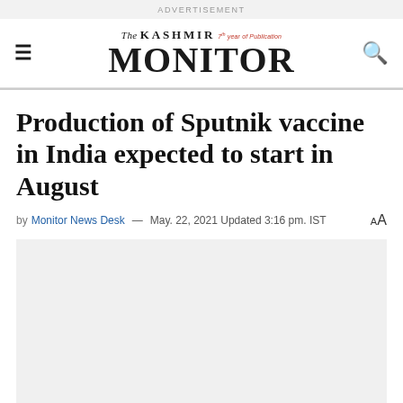ADVERTISEMENT
[Figure (logo): The Kashmir Monitor newspaper logo with hamburger menu and search icon]
Production of Sputnik vaccine in India expected to start in August
by Monitor News Desk — May. 22, 2021 Updated 3:16 pm. IST
[Figure (photo): Article image placeholder, light grey background]